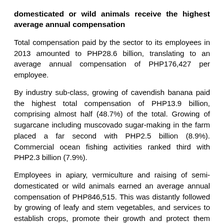domesticated or wild animals receive the highest average annual compensation
Total compensation paid by the sector to its employees in 2013 amounted to PHP28.6 billion, translating to an average annual compensation of PHP176,427 per employee.
By industry sub-class, growing of cavendish banana paid the highest total compensation of PHP13.9 billion, comprising almost half (48.7%) of the total. Growing of sugarcane including muscovado sugar-making in the farm placed a far second with PHP2.5 billion (8.9%). Commercial ocean fishing activities ranked third with PHP2.3 billion (7.9%).
Employees in apiary, vermiculture and raising of semi-domesticated or wild animals earned an average annual compensation of PHP846,515. This was distantly followed by growing of leafy and stem vegetables, and services to establish crops, promote their growth and protect them from